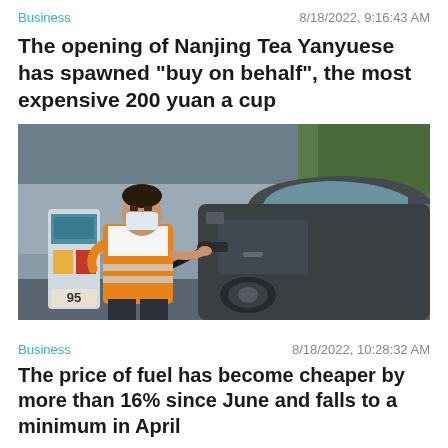Business | 8/18/2022, 9:16:43 AM
The opening of Nanjing Tea Yanyuese has spawned "buy on behalf", the most expensive 200 yuan a cup
[Figure (photo): A gas station worker in an orange reflective vest and face mask pumping fuel into a dark-colored car at a petrol station. A fuel pump with a '95' label is visible on the left.]
Business | 8/18/2022, 10:28:32 AM
The price of fuel has become cheaper by more than 16% since June and falls to a minimum in April